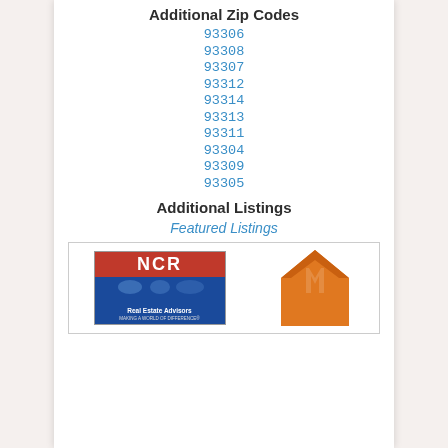Additional Zip Codes
93306
93308
93307
93312
93314
93313
93311
93304
93309
93305
Additional Listings
Featured Listings
[Figure (logo): NCR Real Estate Advisors logo (red and blue) beside a Magento-style orange house/arrow icon]